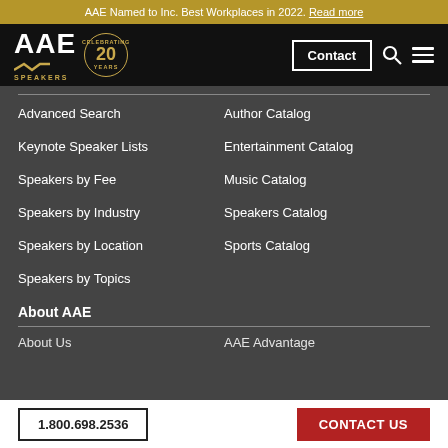AAE Named to Inc. Best Workplaces in 2022. Read more
[Figure (logo): AAE Speakers logo with 20 Years celebrating badge, Contact button, search icon, and hamburger menu]
Advanced Search
Author Catalog
Keynote Speaker Lists
Entertainment Catalog
Speakers by Fee
Music Catalog
Speakers by Industry
Speakers Catalog
Speakers by Location
Sports Catalog
Speakers by Topics
About AAE
About Us
AAE Advantage
NEW! The 2022 Speaking Industry Benchmark Report
1.800.698.2536   CONTACT US